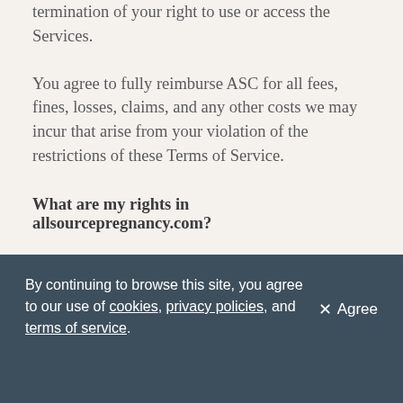termination of your right to use or access the Services.
You agree to fully reimburse ASC for all fees, fines, losses, claims, and any other costs we may incur that arise from your violation of the restrictions of these Terms of Service.
What are my rights in allsourcepregnancy.com?
The materials displayed or performed or available on or through the Services, including, but not limited to, text, graphics, data, articles, photos, images, videos,
By continuing to browse this site, you agree to our use of cookies, privacy policies, and terms of service.